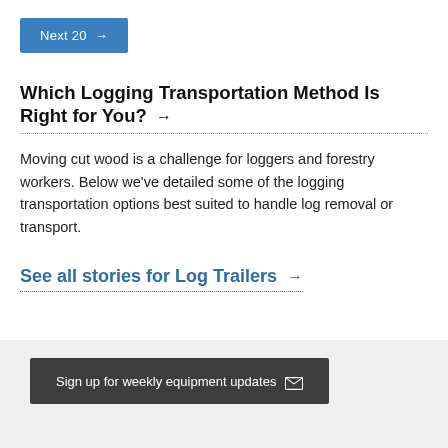Next 20 →
Which Logging Transportation Method Is Right for You? →
Moving cut wood is a challenge for loggers and forestry workers. Below we've detailed some of the logging transportation options best suited to handle log removal or transport.
See all stories for Log Trailers →
Sign up for weekly equipment updates